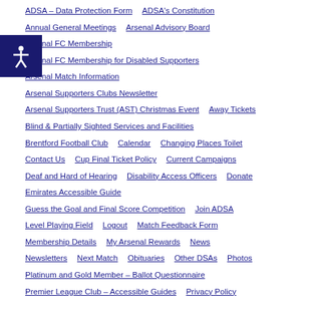ADSA – Data Protection Form
ADSA's Constitution
Annual General Meetings
Arsenal Advisory Board
Arsenal FC Membership
Arsenal FC Membership for Disabled Supporters
Arsenal Match Information
Arsenal Supporters Clubs Newsletter
Arsenal Supporters Trust (AST) Christmas Event
Away Tickets
Blind & Partially Sighted Services and Facilities
Brentford Football Club
Calendar
Changing Places Toilet
Contact Us
Cup Final Ticket Policy
Current Campaigns
Deaf and Hard of Hearing
Disability Access Officers
Donate
Emirates Accessible Guide
Guess the Goal and Final Score Competition
Join ADSA
Level Playing Field
Logout
Match Feedback Form
Membership Details
My Arsenal Rewards
News
Newsletters
Next Match
Obituaries
Other DSAs
Photos
Platinum and Gold Member – Ballot Questionnaire
Premier League Club – Accessible Guides
Privacy Policy